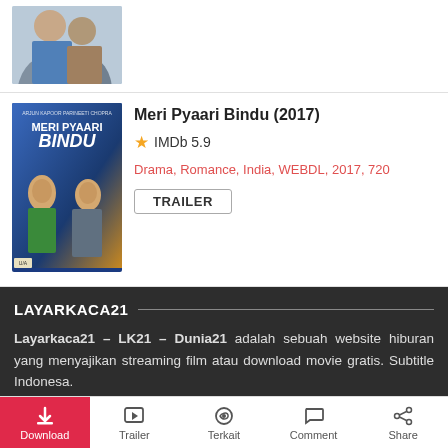[Figure (photo): Partial view of a movie poster at the top of the page, cropped showing partial faces]
Meri Pyaari Bindu (2017)
IMDb 5.9
Drama, Romance, India, WEBDL, 2017, 720
TRAILER
[Figure (photo): Movie poster for Meri Pyaari Bindu (2017) showing two characters]
LAYARKACA21
Layarkaca21 – LK21 – Dunia21 adalah sebuah website hiburan yang menyajikan streaming film atau download movie gratis. Subtitle Indonesa.
Perlu diketahui, film-film yang terdapat pada web ini didapatkan dari web pencarian di internet. Kami tidak menyimpan file tersebut di server sendiri dan kami hanya menempelkan link-
Download   Trailer   Terkait   Comment   Share